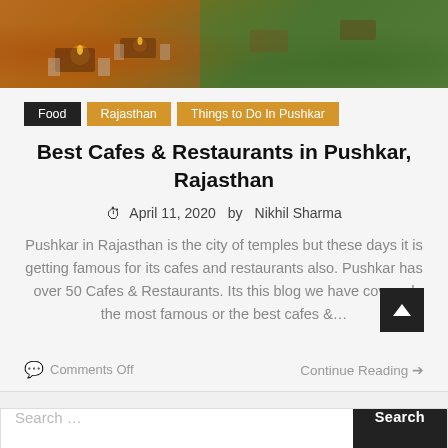[Figure (photo): Aerial/overhead view of an outdoor restaurant or cafe setting with tables, chairs, candles and greenery, warm orange and green tones.]
Food
Rajasthan
Things to Do In Pushkar
Best Cafes & Restaurants in Pushkar, Rajasthan
April 11, 2020   by Nikhil Sharma
Pushkar in Rajasthan is the city of temples but these days it is getting famous for its cafes and restaurants also. Pushkar has over 50 Cafes & Restaurants. Its this blog we have covered the most famous or the best cafes &…
Comments Off
Continue Reading →
Search …